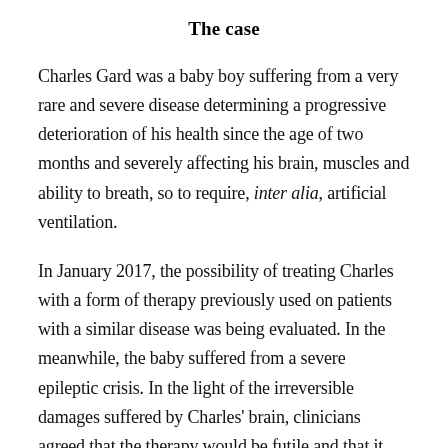The case
Charles Gard was a baby boy suffering from a very rare and severe disease determining a progressive deterioration of his health since the age of two months and severely affecting his brain, muscles and ability to breath, so to require, inter alia, artificial ventilation.
In January 2017, the possibility of treating Charles with a form of therapy previously used on patients with a similar disease was being evaluated. In the meanwhile, the baby suffered from a severe epileptic crisis. In the light of the irreversible damages suffered by Charles' brain, clinicians agreed that the therapy would be futile and that it would only prolong